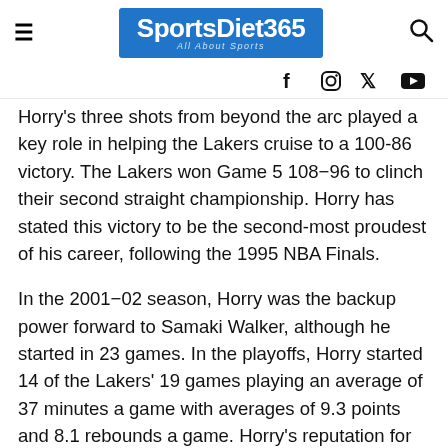SportsDiet365 — All About Sports
Horry's three shots from beyond the arc played a key role in helping the Lakers cruise to a 100-86 victory. The Lakers won Game 5 108–96 to clinch their second straight championship. Horry has stated this victory to be the second-most proudest of his career, following the 1995 NBA Finals.
In the 2001–02 season, Horry was the backup power forward to Samaki Walker, although he started in 23 games. In the playoffs, Horry started 14 of the Lakers' 19 games playing an average of 37 minutes a game with averages of 9.3 points and 8.1 rebounds a game. Horry's reputation for clutch play was elevated in Game 4 of the 2002 Western Conference Finals against the Sacramento Kings. Down 1-2 in the series, the Lakers trailed by 24 points in the first half and faced a series-closing Game 5 in Sacramento. However, the Lakers